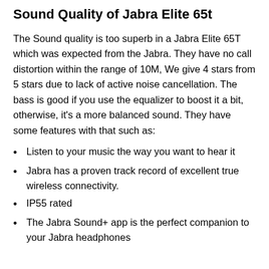Sound Quality of Jabra Elite 65t
The Sound quality is too superb in a Jabra Elite 65T which was expected from the Jabra. They have no call distortion within the range of 10M, We give 4 stars from 5 stars due to lack of active noise cancellation. The bass is good if you use the equalizer to boost it a bit, otherwise, it's a more balanced sound. They have some features with that such as:
Listen to your music the way you want to hear it
Jabra has a proven track record of excellent true wireless connectivity.
IP55 rated
The Jabra Sound+ app is the perfect companion to your Jabra headphones